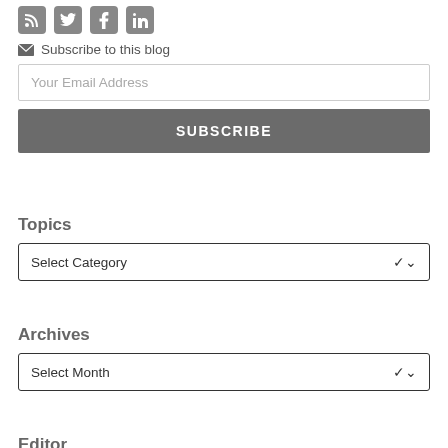[Figure (other): Row of social media icons (RSS/email, Twitter bird, Facebook f, LinkedIn in) in dark grey rounded squares]
✉ Subscribe to this blog
Your Email Address
SUBSCRIBE
Topics
Select Category
Archives
Select Month
Editor